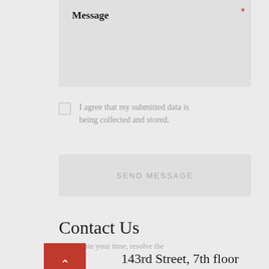Message *
I agree that my submitted data is being collected and stored.
SEND MESSAGE
Contact Us
don't waste your time, resolve the proplem
143rd Street, 7th floor